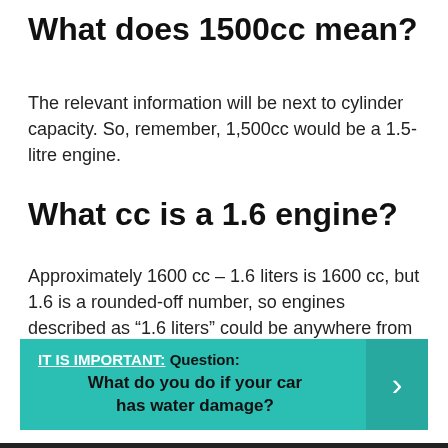What does 1500cc mean?
The relevant information will be next to cylinder capacity. So, remember, 1,500cc would be a 1.5-litre engine.
What cc is a 1.6 engine?
Approximately 1600 cc – 1.6 liters is 1600 cc, but 1.6 is a rounded-off number, so engines described as “1.6 liters” could be anywhere from 1551 cc to 1649 cc.
IT IS IMPORTANT: Question: What do you do if your car has water damage?